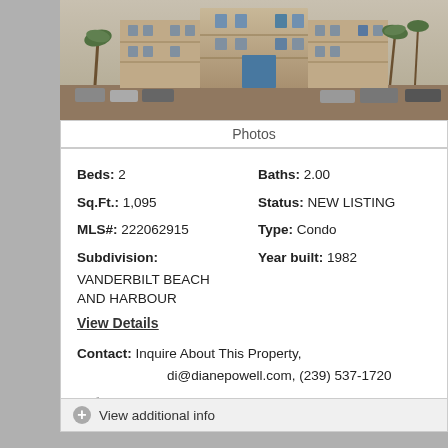[Figure (photo): Exterior photo of a multi-story condominium building with palm trees and parked cars in front.]
Photos
Beds: 2   Baths: 2.00
Sq.Ft.: 1,095   Status: NEW LISTING
MLS#: 222062915   Type: Condo
Subdivision:   Year built: 1982
VANDERBILT BEACH AND HARBOUR
View Details
Contact: Inquire About This Property, di@dianepowell.com, (239) 537-1720
[Figure (logo): Broker Reciprocity logo with house icon]
Courtesy: John R Wood Properties
Request Info   Save Property
View additional info